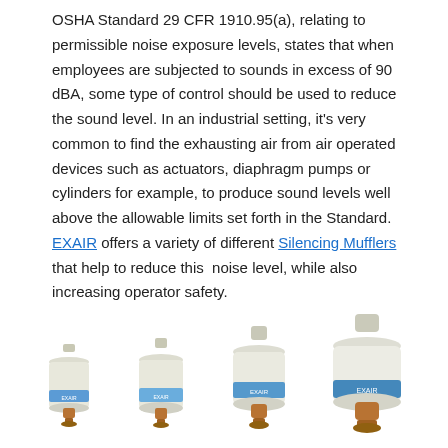OSHA Standard 29 CFR 1910.95(a), relating to permissible noise exposure levels, states that when employees are subjected to sounds in excess of 90 dBA, some type of control should be used to reduce the sound level. In an industrial setting, it's very common to find the exhausting air from air operated devices such as actuators, diaphragm pumps or cylinders for example, to produce sound levels well above the allowable limits set forth in the Standard. EXAIR offers a variety of different Silencing Mufflers that help to reduce this  noise level, while also increasing operator safety.
[Figure (photo): Four EXAIR silencing muffler products of increasing size shown side by side. The mufflers are white/cream colored cylindrical devices with blue EXAIR branding labels and red/copper bottom fittings.]